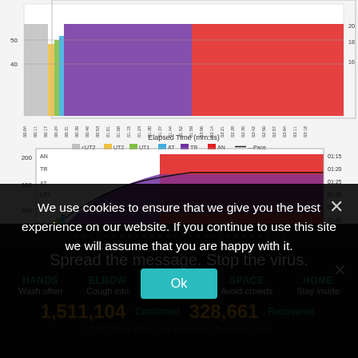[Figure (continuous-plot): Partial stacked area/bar chart showing training zones (colored: gray <UT2, yellow UT2, green UT1, blue AT, purple TR, red AN) vs elapsed time in mm:ss format, with pace line. Top portion partially cropped. Y-axis shows values around 40, x-axis shows elapsed time from 00:04 to 03:18.]
[Figure (continuous-plot): Stacked area chart showing heart rate training zones over elapsed time. Legend: gray=<UT2, yellow=UT2, green=UT1, blue=AT, purple=TR, red=AN, black line=Pace. Y-axis (left) shows HR values 160-200, Y-axis (right) shows pace 01:15-01:40. Zone labels AN, TR, AT, UT1, UT2 annotated on left side. Large purple and red areas dominate the chart.]
We use cookies to ensure that we give you the best experience on our website. If you continue to use this site we will assume that you are happy with it.
Ok
Spread the message. Stop the virus.
HANDS
Wash often
ELBOW
Cough into
FACE
Don't touch
SPACE
Avoid crowds
HOME
Stay inside
1,511,104 Confirmed 328,661 Recovered
| Total| Total| | -Avg- | -Avg- | Avg | -Avg- | -Max- | Avg | -Avg-